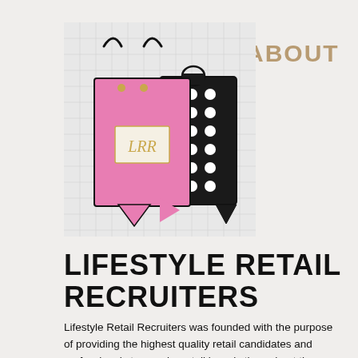[Figure (illustration): Illustration of two shopping bags: a pink bag with 'LRR' label in front, and a black-and-white polka dot bag behind it, on a light grid background.]
ABOUT
LIFESTYLE RETAIL RECRUITERS
Lifestyle Retail Recruiters was founded with the purpose of providing the highest quality retail candidates and professionals to premier retail brands throughout the nation. Our advanced technology recruitment methods coupled